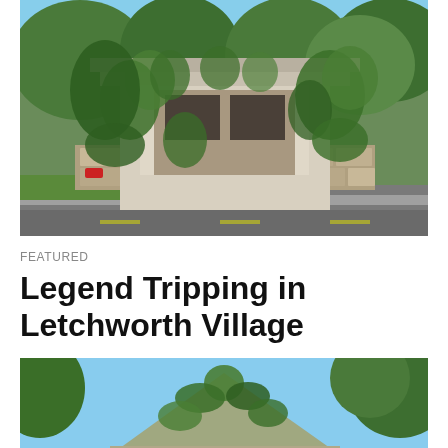[Figure (photo): Abandoned stone building covered in thick green ivy and vines, with a columned porch, set against a background of trees on a summer day. A road is visible in the foreground.]
FEATURED
Legend Tripping in Letchworth Village
[Figure (photo): Partial view of another ivy-covered building with a hipped roof, set against a blue sky with trees visible.]